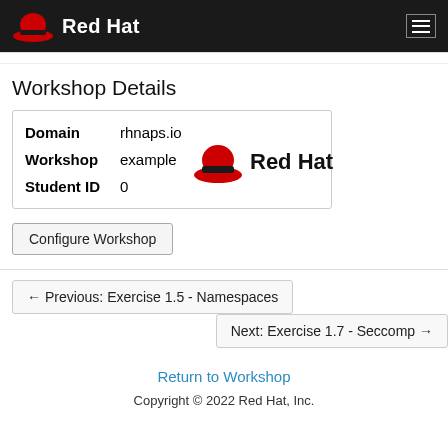Red Hat
Workshop Details
| Field | Value |
| --- | --- |
| Domain | rhnaps.io |
| Workshop | example |
| Student ID | 0 |
[Figure (logo): Red Hat logo with red hat icon and bold Red Hat text]
Configure Workshop
← Previous: Exercise 1.5 - Namespaces
Next: Exercise 1.7 - Seccomp →
Return to Workshop
Copyright © 2022 Red Hat, Inc.